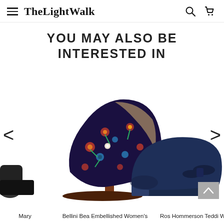TheLightWalk
YOU MAY ALSO BE INTERESTED IN
[Figure (photo): E-commerce shoe store page with carousel showing three women's shoe products: a dark shoe on the left edge, a Bellini Bea Embellished Women's floral heel in the center, and a Ros Hommerson Teddi Women's navy flat on the right. Navigation arrows and scroll-up button visible.]
Mary
Bellini Bea Embellished Women's
Ros Hommerson Teddi Wo...